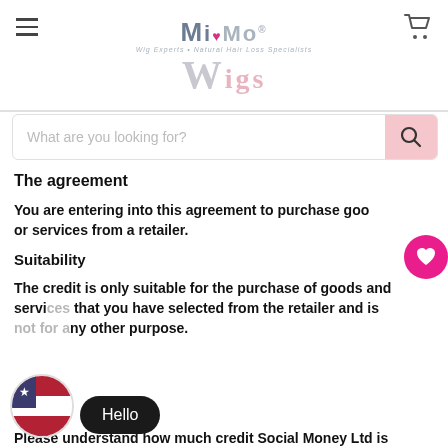[Figure (logo): MiMo Wigs logo with hamburger menu and cart icon]
[Figure (screenshot): Search bar with placeholder 'What are you looking for?' and pink search button]
The agreement
You are entering into this agreement to purchase goods or services from a retailer.
Suitability
The credit is only suitable for the purchase of goods and services that you have selected from the retailer and is not for any other purpose.
Please understand how much credit Social Money Ltd is